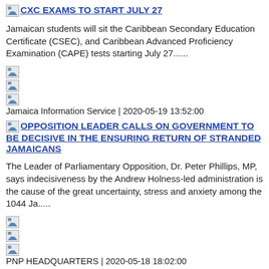CXC EXAMS TO START JULY 27
Jamaican students will sit the Caribbean Secondary Education Certificate (CSEC), and Caribbean Advanced Proficiency Examination (CAPE) tests starting July 27......
Jamaica Information Service | 2020-05-19 13:52:00
OPPOSITION LEADER CALLS ON GOVERNMENT TO BE DECISIVE IN THE ENSURING RETURN OF STRANDED JAMAICANS
The Leader of Parliamentary Opposition, Dr. Peter Phillips, MP, says indecisiveness by the Andrew Holness-led administration is the cause of the great uncertainty, stress and anxiety among the 1044 Ja.....
PNP HEADQUARTERS | 2020-05-18 18:02:00
The JN Group Pays Tribute to Oliver Clarke
Chief Executive Officer of The Jamaica National Group, the Hon. Earl Jarrett, has paid tribute to Chairman of the JN Group, Hon. Oliver Clarke, who passed away at home, yesterday, May 16......